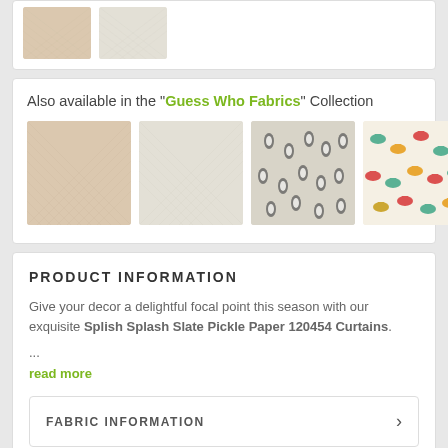[Figure (photo): Two fabric swatch thumbnails: beige woven texture and cream woven texture]
Also available in the "Guess Who Fabrics" Collection
[Figure (photo): Four fabric swatches in the Guess Who Fabrics collection plus a view all link]
PRODUCT INFORMATION
Give your decor a delightful focal point this season with our exquisite Splish Splash Slate Pickle Paper 120454 Curtains.
...
read more
FABRIC INFORMATION